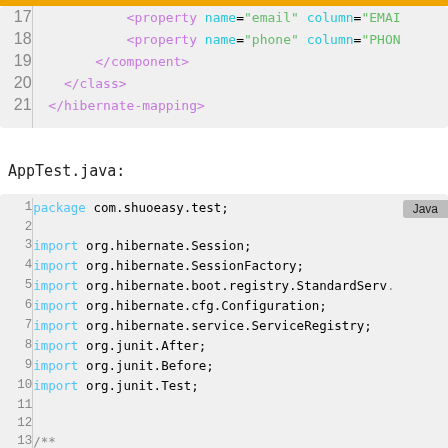[Figure (screenshot): Code snippet (XML/Hibernate mapping) lines 17-21 showing property and closing tags for component, class, hibernate-mapping]
AppTest.java:
[Figure (screenshot): Java code snippet lines 1-13+ showing package declaration, imports for hibernate and junit classes]